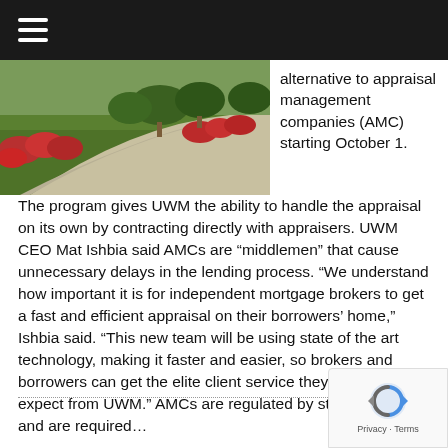[Figure (photo): Outdoor photo of a curved sidewalk path with green lawn and red flowering plants/shrubs along the edge, with trees in the background.]
alternative to appraisal management companies (AMC) starting October 1. The program gives UWM the ability to handle the appraisal on its own by contracting directly with appraisers. UWM CEO Mat Ishbia said AMCs are “middlemen” that cause unnecessary delays in the lending process. “We understand how important it is for independent mortgage brokers to get a fast and efficient appraisal on their borrowers’ home,” Ishbia said. “This new team will be using state of the art technology, making it faster and easier, so brokers and borrowers can get the elite client service they deserve and expect from UWM.” AMCs are regulated by state agencies and are required…